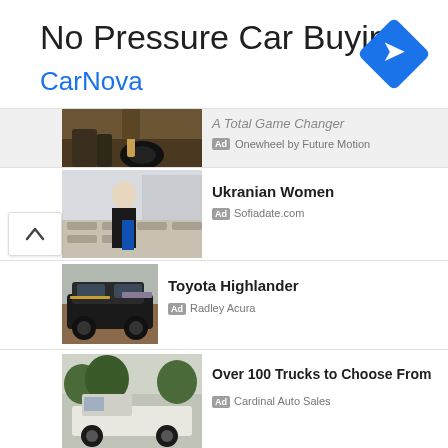No Pressure Car Buying
CarNova
[Figure (logo): Blue diamond-shaped navigation/turn icon with white arrow pointing right]
[Figure (photo): Partial image of Onewheel electric skateboard device on ground with person's feet visible]
A Total Game Changer
Ad Onewheel by Future Motion
[Figure (photo): Blonde woman in black top with blue bag standing near pool area with lounge chairs]
Ukranian Women
Ad Sofiadate.com
[Figure (photo): Black Toyota Highlander SUV parked on brick surface in front of building]
Toyota Highlander
Ad Radley Acura
[Figure (photo): White pickup truck partially visible under trees]
Over 100 Trucks to Choose From
Ad Cardinal Auto Sales